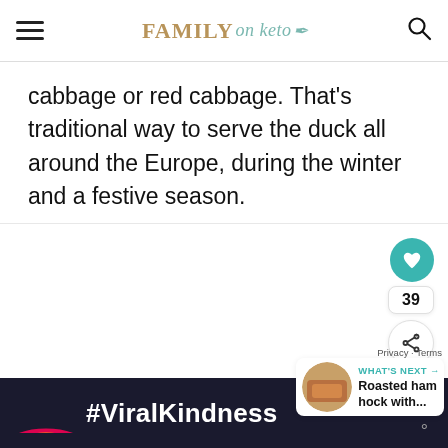FAMILY on keto
cabbage or red cabbage. That's traditional way to serve the duck all around the Europe, during the winter and a festive season.
[Figure (screenshot): Floating social buttons: heart/save button (teal circle), count badge showing 39, share button, Privacy·Terms text, What's Next section showing Roasted ham hock with... with thumbnail]
[Figure (screenshot): Advertisement banner with dark background, colorful rainbow graphic and #ViralKindness text in white]